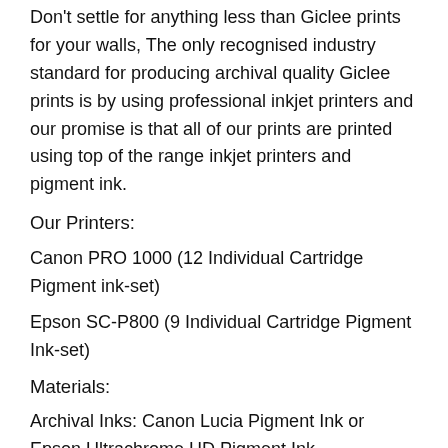Don't settle for anything less than Giclee prints for your walls, The only recognised industry standard for producing archival quality Giclee prints is by using professional inkjet printers and our promise is that all of our prints are printed using top of the range inkjet printers and pigment ink.
Our Printers:
Canon PRO 1000 (12 Individual Cartridge Pigment ink-set)
Epson SC-P800 (9 Individual Cartridge Pigment Ink-set)
Materials:
Archival Inks: Canon Lucia Pigment Ink or Epson Ultrachrome HD Pigment Ink
Paper: Award Winning 300gsm Oyster Photography Paper